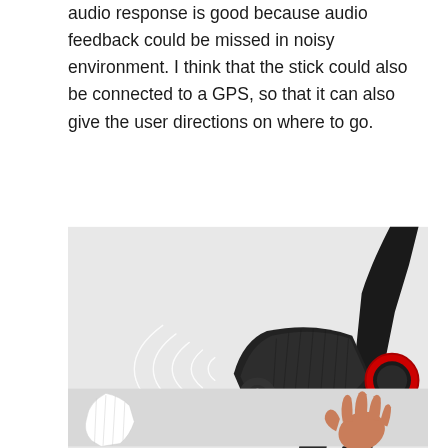audio response is good because audio feedback could be missed in noisy environment. I think that the stick could also be connected to a GPS, so that it can also give the user directions on where to go.
[Figure (photo): Close-up product photo of a black cane/stick handle with textured grip, red illuminated ring accent, wrist loop, and curved neck. White concentric arc lines on the left suggest sonar/ultrasonic wave emission.]
[Figure (photo): Partial product photo showing a white cane tip on the left and a human hand on the right, against a light gray background.]